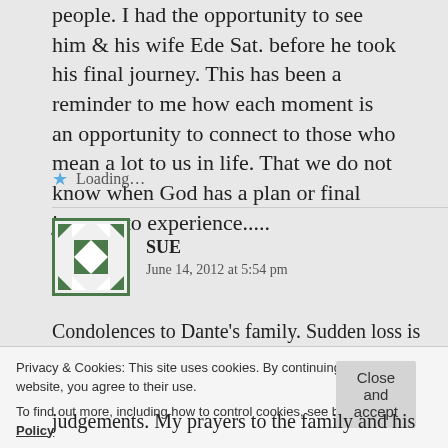people. I had the opportunity to see him & his wife Ede Sat. before he took his final journey. This has been a reminder to me how each moment is an opportunity to connect to those who mean a lot to us in life. That we do not know when God has a plan or final journey to experience.....
Loading...
SUE
June 14, 2012 at 5:54 pm
Condolences to Dante’s family. Sudden loss is
Privacy & Cookies: This site uses cookies. By continuing to use this website, you agree to their use.
To find out more, including how to control cookies, see here: Cookie Policy
Close and accept
judgements. My prayers to the family and his